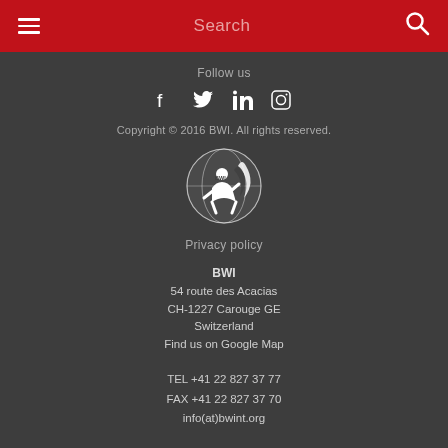Search
Follow us
[Figure (illustration): Social media icons: Facebook, Twitter, LinkedIn, Instagram]
Copyright © 2016 BWI. All rights reserved.
[Figure (logo): BWI circular logo with figure and globe design in white on dark background]
Privacy policy
BWI
54 route des Acacias
CH-1227 Carouge GE
Switzerland
Find us on Google Map
TEL +41 22 827 37 77
FAX +41 22 827 37 70
info(at)bwint.org